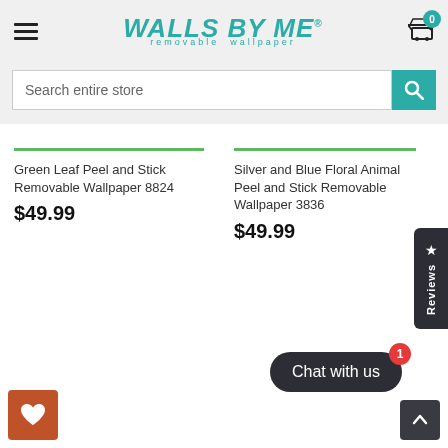Walls By Me — removable wallpaper
Search entire store
Green Leaf Peel and Stick Removable Wallpaper 8824 $49.99
Silver and Blue Floral Animal Peel and Stick Removable Wallpaper 3836 $49.99
Reviews
Chat with us
0 (cart)
1 (chat notification)